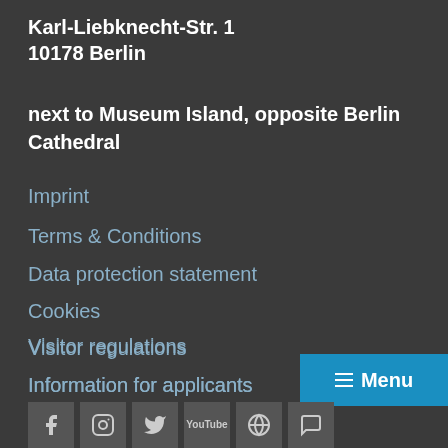Karl-Liebknecht-Str. 1
10178 Berlin
next to Museum Island, opposite Berlin Cathedral
Imprint
Terms & Conditions
Data protection statement
Cookies
Visitor regulations
Information for applicants
Feedback
Contact
[Figure (other): Menu button with hamburger icon and social media icons (Facebook, Instagram, Twitter, YouTube, and others)]